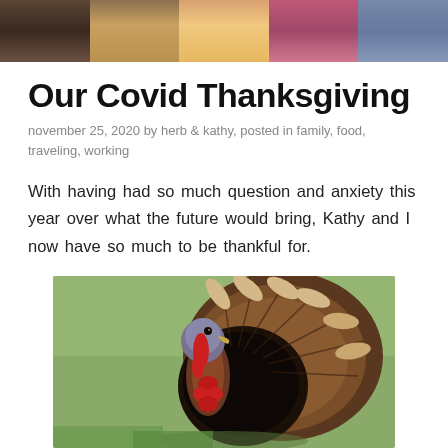[Figure (photo): Header photo strip showing people and food]
Our Covid Thanksgiving
november 25, 2020 by herb & kathy, posted in family, food, traveling, working
With having had so much question and anxiety this year over what the future would bring, Kathy and I now have so much to be thankful for.
[Figure (photo): A turkey bird photographed outdoors on green grass, displaying its full plumage fan]